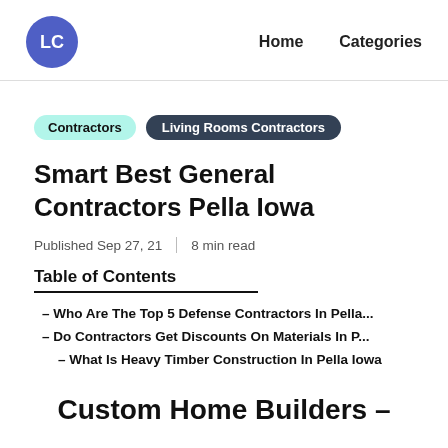LC   Home   Categories
Contractors   Living Rooms Contractors
Smart Best General Contractors Pella Iowa
Published Sep 27, 21   |   8 min read
Table of Contents
- Who Are The Top 5 Defense Contractors In Pella...
- Do Contractors Get Discounts On Materials In P...
- What Is Heavy Timber Construction In Pella Iowa
Custom Home Builders –